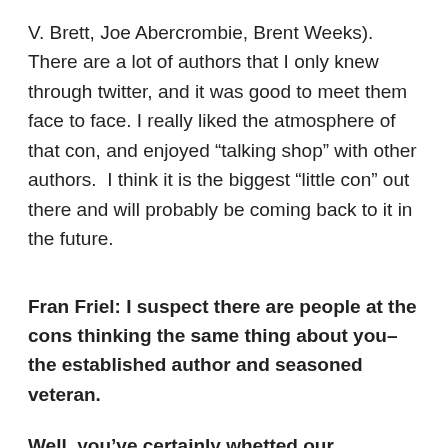V. Brett, Joe Abercrombie, Brent Weeks). There are a lot of authors that I only knew through twitter, and it was good to meet them face to face. I really liked the atmosphere of that con, and enjoyed “talking shop” with other authors.  I think it is the biggest “little con” out there and will probably be coming back to it in the future.
Fran Friel: I suspect there are people at the cons thinking the same thing about you–the established author and seasoned veteran.
Well, you’ve certainly whetted our appetites tonight, Michael. Where else can our readers find you on the Web?